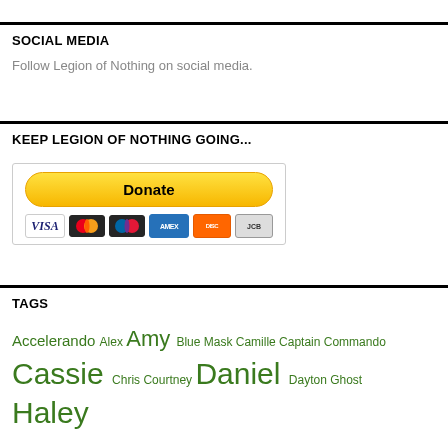SOCIAL MEDIA
Follow Legion of Nothing on social media.
KEEP LEGION OF NOTHING GOING...
[Figure (other): PayPal Donate button with payment card icons (Visa, Mastercard, Maestro, Amex, Discover, JCB)]
TAGS
Accelerando Alex Amy Blue Mask Camille Captain Commando Cassie Chris Courtney Daniel Dayton Ghost Haley